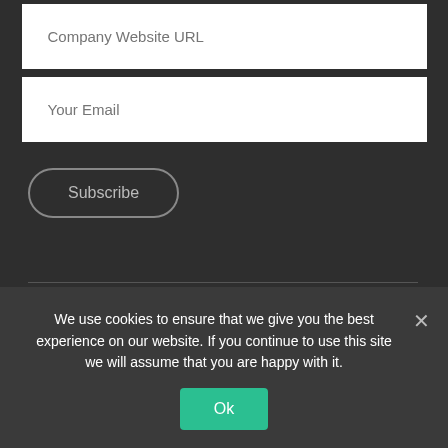[Figure (screenshot): Input field with placeholder text 'Company Website URL']
[Figure (screenshot): Input field with placeholder text 'Your Email']
[Figure (screenshot): Subscribe button with rounded border]
Copyright ©2022 Retail Merchandiser. All rights reserved.
We use cookies to ensure that we give you the best experience on our website. If you continue to use this site we will assume that you are happy with it.